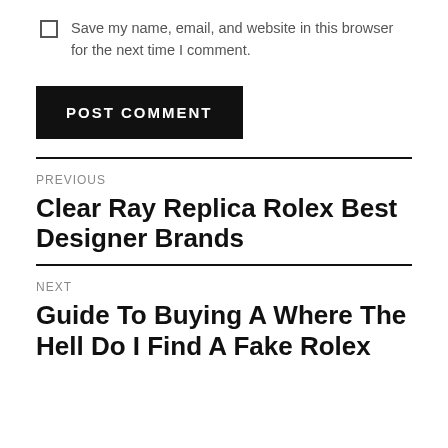Save my name, email, and website in this browser for the next time I comment.
POST COMMENT
PREVIOUS
Clear Ray Replica Rolex Best Designer Brands
NEXT
Guide To Buying A Where The Hell Do I Find A Fake Rolex